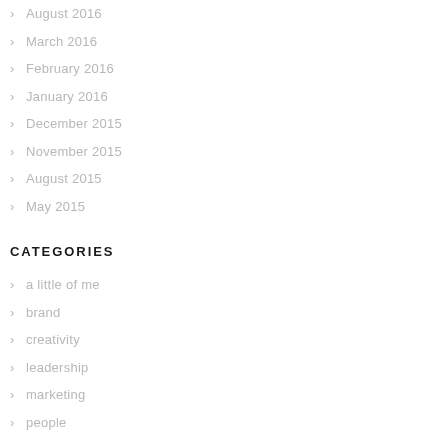August 2016
March 2016
February 2016
January 2016
December 2015
November 2015
August 2015
May 2015
CATEGORIES
a little of me
brand
creativity
leadership
marketing
people